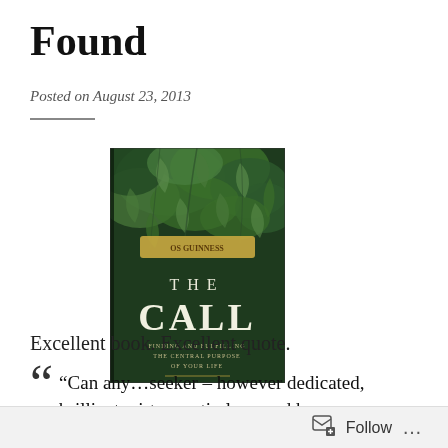Found
Posted on August 23, 2013
[Figure (photo): Book cover of 'The Call' by Os Guinness, showing green ivy leaves on a dark background with white text.]
Excellent book.  Excellent quote.
“Can any…seeker – however dedicated, brilliant, virtuous, tireless, and however much a genius by human standards
Follow …